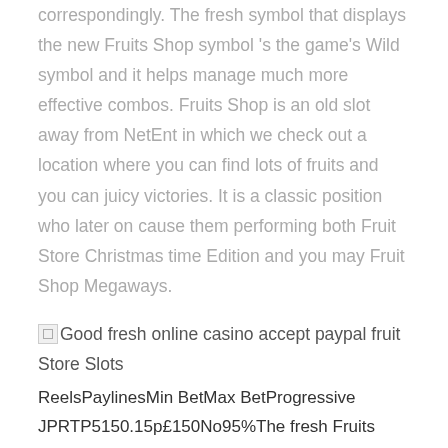correspondingly. The fresh symbol that displays the new Fruits Shop symbol 's the game's Wild symbol and it helps manage much more effective combos. Fruits Shop is an old slot away from NetEnt in which we check out a location where you can find lots of fruits and you can juicy victories. It is a classic position who later on cause them performing both Fruit Store Christmas time Edition and you may Fruit Shop Megaways.
[Figure (photo): Broken image placeholder with alt text: Good fresh online casino accept paypal fruit Store Slots]
ReelsPaylinesMin BetMax BetProgressive JPRTP5150.15p£150No95%The fresh Fruits Shop position video game by NetEnt encourages professionals to come and possess a flavor of the